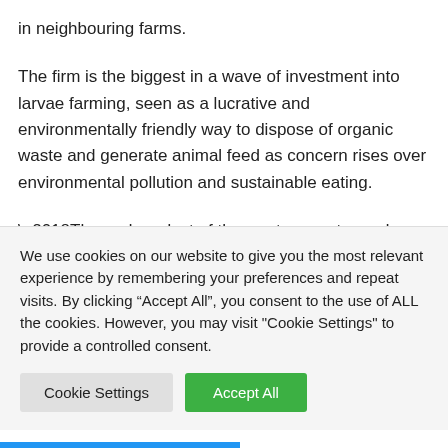in neighbouring farms.
The firm is the biggest in a wave of investment into larvae farming, seen as a lucrative and environmentally friendly way to dispose of organic waste and generate animal feed as concern rises over environmental pollution and sustainable eating.
‘The end product of the waste goes to produce crops. Then the larvae that you get goes in to feed our livestock,’ said
We use cookies on our website to give you the most relevant experience by remembering your preferences and repeat visits. By clicking “Accept All”, you consent to the use of ALL the cookies. However, you may visit "Cookie Settings" to provide a controlled consent.